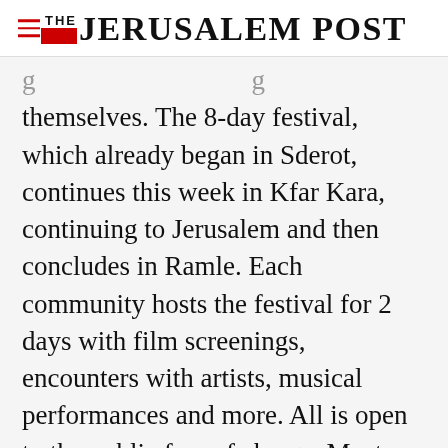THE JERUSALEM POST
themselves. The 8-day festival, which already began in Sderot, continues this week in Kfar Kara, continuing to Jerusalem and then concludes in Ramle. Each community hosts the festival for 2 days with film screenings, encounters with artists, musical performances and more. All is open to the public free of charge. Most films screened are documentaries from the past decade by Jewish and Palestinian directors,
Advertisement